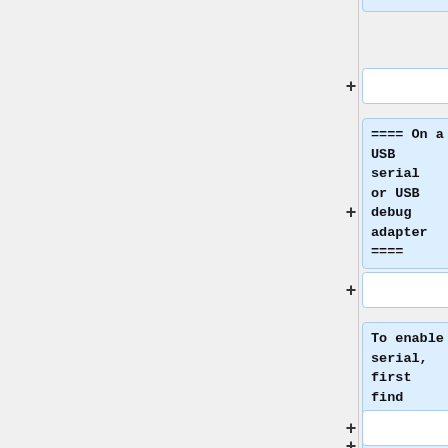serial
==== On a USB serial or USB debug adapter ====
To enable serial, first find out the name of your usb serial port trough: